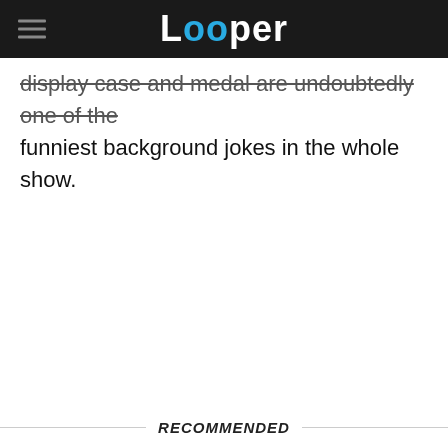Looper
display case and medal are undoubtedly one of the funniest background jokes in the whole show.
RECOMMENDED